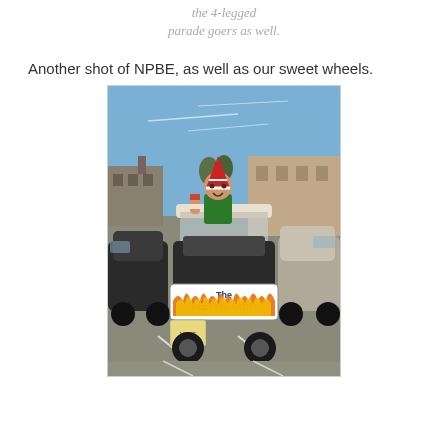the 4-legged parade goers as well.
Another shot of NPBE, as well as our sweet wheels.
[Figure (photo): A person dressed as an elf in a golf cart decorated with flames and a sign reading 'TheNEWK.com', parked in a lot with cars around and blue sky above.]